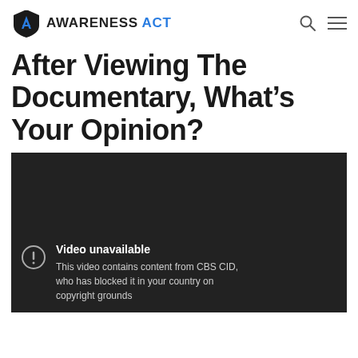AWARENESS ACT
After Viewing The Documentary, What’s Your Opinion?
[Figure (screenshot): Embedded video player showing 'Video unavailable' error message: 'This video contains content from CBS CID, who has blocked it in your country on copyright grounds']